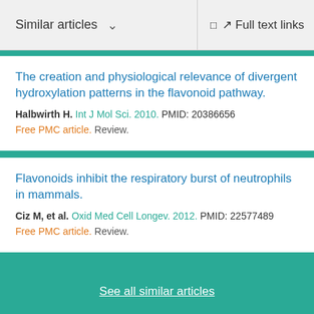Similar articles   Full text links
The creation and physiological relevance of divergent hydroxylation patterns in the flavonoid pathway.
Halbwirth H. Int J Mol Sci. 2010. PMID: 20386656
Free PMC article. Review.
Flavonoids inhibit the respiratory burst of neutrophils in mammals.
Ciz M, et al. Oxid Med Cell Longev. 2012. PMID: 22577489
Free PMC article. Review.
See all similar articles